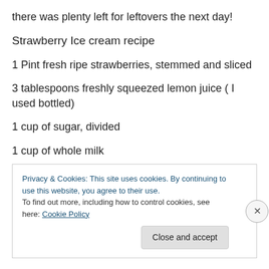there was plenty left for leftovers the next day!
Strawberry Ice cream recipe
1 Pint fresh ripe strawberries, stemmed and sliced
3 tablespoons freshly squeezed lemon juice ( I used bottled)
1 cup of sugar, divided
1 cup of whole milk
Privacy & Cookies: This site uses cookies. By continuing to use this website, you agree to their use.
To find out more, including how to control cookies, see here: Cookie Policy
Close and accept